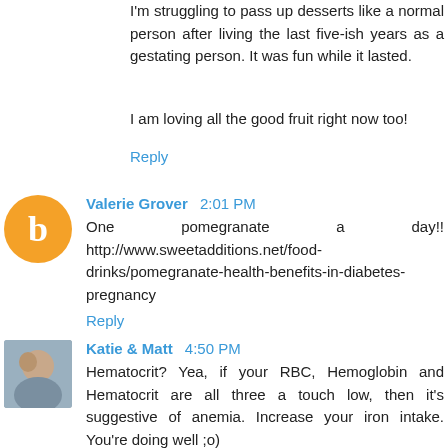I'm struggling to pass up desserts like a normal person after living the last five-ish years as a gestating person. It was fun while it lasted.
I am loving all the good fruit right now too!
Reply
Valerie Grover  2:01 PM
One pomegranate a day!! http://www.sweetadditions.net/food-drinks/pomegranate-health-benefits-in-diabetes-pregnancy
Reply
Katie & Matt  4:50 PM
Hematocrit? Yea, if your RBC, Hemoglobin and Hematocrit are all three a touch low, then it's suggestive of anemia. Increase your iron intake. You're doing well ;o)
Reply